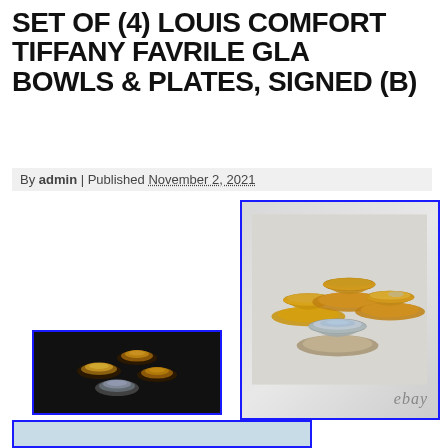SET OF (4) LOUIS COMFORT TIFFANY FAVRILE GLA BOWLS & PLATES, SIGNED (B)
By admin | Published November 2, 2021
[Figure (photo): Photograph of a set of four Louis Comfort Tiffany Favrile glass bowls and plates arranged together, with gold iridescent finish, shown against a light gray background. An eBay watermark is visible at the bottom right. Image surrounded by a blue border.]
[Figure (photo): Thumbnail image of the same set of four Tiffany Favrile glass bowls and plates, showing the arrangement from above, dark background.]
[Figure (photo): Partial view of a second image, partially cropped, with a blue border, light blue background.]